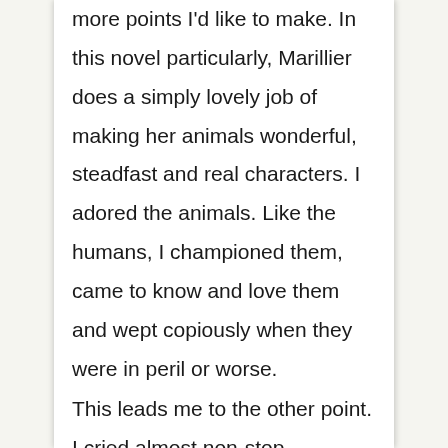more points I'd like to make. In this novel particularly, Marillier does a simply lovely job of making her animals wonderful, steadfast and real characters. I adored the animals. Like the humans, I championed them, came to know and love them and wept copiously when they were in peril or worse. This leads me to the other point. I cried almost non-stop throughout the final quarter of the book, pausing only to blow my nose,